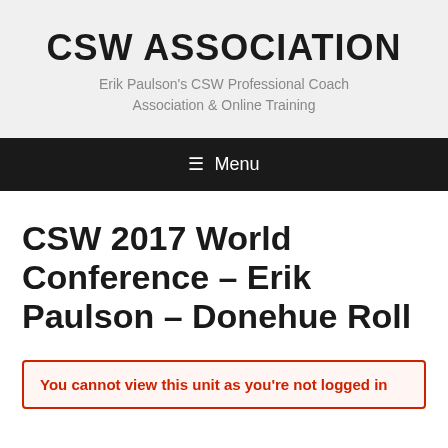CSW ASSOCIATION
Erik Paulson's CSW Professional Coach Association & Online Training
≡ Menu
CSW 2017 World Conference – Erik Paulson – Donehue Roll
You cannot view this unit as you're not logged in